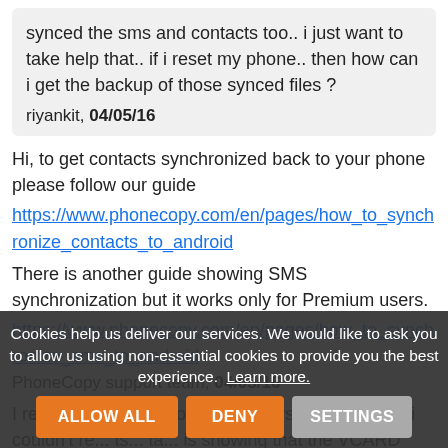synced the sms and contacts too.. i just want to take help that.. if i reset my phone.. then how can i get the backup of those synced files ?
riyankit, 04/05/16
Hi, to get contacts synchronized back to your phone please follow our guide https://www.phonecopy.com/en/pages/how_to_synchronize_contacts_to_android There is another guide showing SMS synchronization but it works only for Premium users. https://www.phonecopy.com/en/pages/how_to_synchronize_sms_to_android
PhoneCopy support team, 04/05/16
I reset my phone before some days....... After that i couldn't re... ts... ta... is showing that the VCARD could not be retrieved
Cookies help us deliver our services. We would like to ask you to allow us using non-essential cookies to provide you the best experience. Learn more.